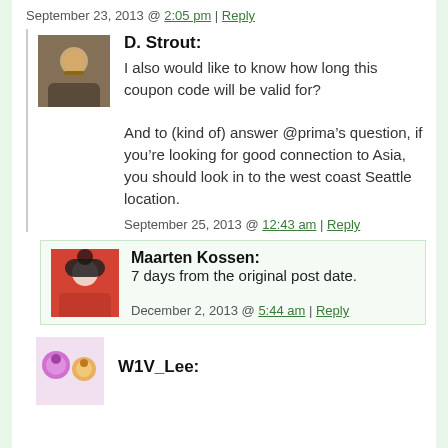September 23, 2013 @ 2:05 pm | Reply
D. Strout: I also would like to know how long this coupon code will be valid for?

And to (kind of) answer @prima’s question, if you’re looking for good connection to Asia, you should look in to the west coast Seattle location.

September 25, 2013 @ 12:43 am | Reply
Maarten Kossen: 7 days from the original post date.

December 2, 2013 @ 5:44 am | Reply
W1V_Lee: